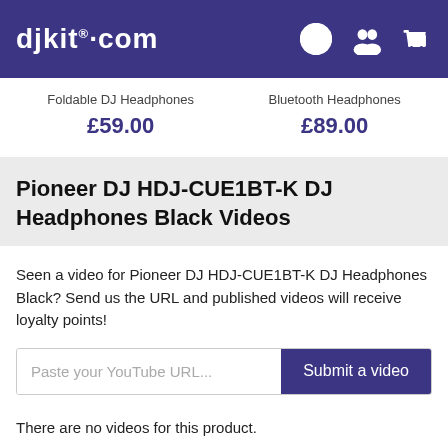djkit.com
Foldable DJ Headphones £59.00
Bluetooth Headphones £89.00
Pioneer DJ HDJ-CUE1BT-K DJ Headphones Black Videos
Seen a video for Pioneer DJ HDJ-CUE1BT-K DJ Headphones Black? Send us the URL and published videos will receive loyalty points!
Paste your YouTube URL... Submit a video
There are no videos for this product.
Pioneer DJ HDJ-CUE1BT-K DJ Headphones Black Reviews